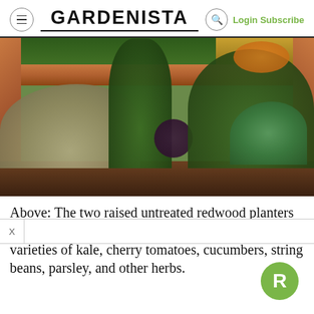GARDENISTA  Login Subscribe
[Figure (photo): Garden photo showing two raised untreated redwood planters with various plants including kale, cherry tomatoes, cucumbers, string beans, parsley, and other herbs. Succulents and dark-leaved plants visible in foreground.]
Above: The two raised untreated redwood planters measure about 3 by 10 feet. In them, Kranz planted varieties of kale, cherry tomatoes, cucumbers, string beans, parsley, and other herbs.